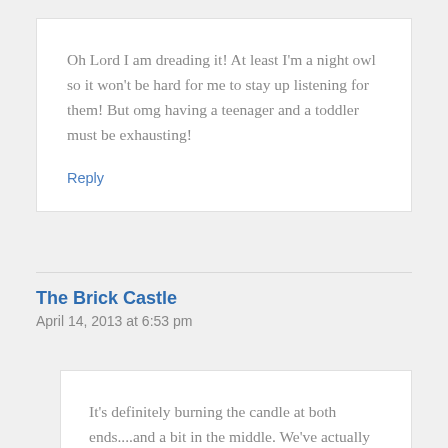Oh Lord I am dreading it! At least I'm a night owl so it won't be hard for me to stay up listening for them! But omg having a teenager and a toddler must be exhausting!
Reply
The Brick Castle
April 14, 2013 at 6:53 pm
It's definitely burning the candle at both ends....and a bit in the middle. We've actually